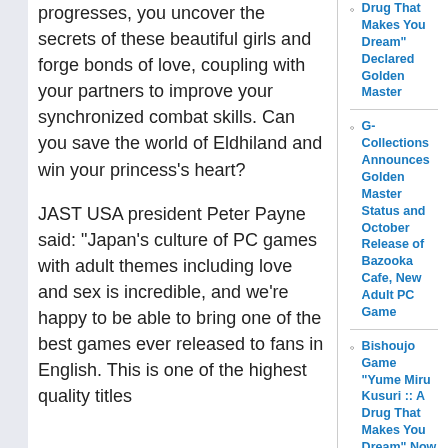progresses, you uncover the secrets of these beautiful girls and forge bonds of love, coupling with your partners to improve your synchronized combat skills. Can you save the world of Eldhiland and win your princess's heart?
JAST USA president Peter Payne said: "Japan's culture of PC games with adult themes including love and sex is incredible, and we're happy to be able to bring one of the best games ever released to fans in English. This is one of the highest quality titles
Drug That Makes You Dream" Declared Golden Master
G-Collections Announces Golden Master Status and October Release of Bazooka Cafe, New Adult PC Game
Bishoujo Game "Yume Miru Kusuri :: A Drug That Makes You Dream" Now Shipping
JAST USA Announces Adult PC Game "Absolute Obedience" Ships, Also Price Reduction